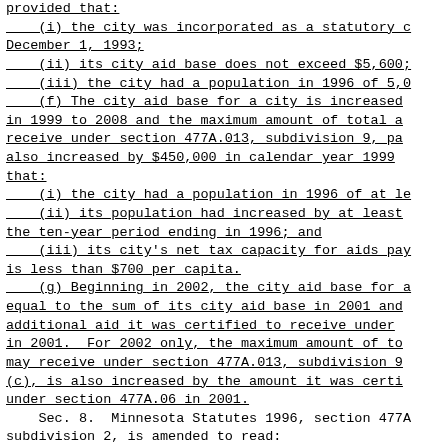provided that:
    (i) the city was incorporated as a statutory c December 1, 1993;
    (ii) its city aid base does not exceed $5,600;
    (iii) the city had a population in 1996 of 5,0
    (f) The city aid base for a city is increased in 1999 to 2008 and the maximum amount of total a receive under section 477A.013, subdivision 9, pa also increased by $450,000 in calendar year 1999 that:
    (i) the city had a population in 1996 of at le
    (ii) its population had increased by at least the ten-year period ending in 1996; and
    (iii) its city's net tax capacity for aids pay is less than $700 per capita.
    (g) Beginning in 2002, the city aid base for a equal to the sum of its city aid base in 2001 and additional aid it was certified to receive under in 2001.  For 2002 only, the maximum amount of to may receive under section 477A.013, subdivision 9 (c), is also increased by the amount it was certi under section 477A.06 in 2001.
    Sec. 8.  Minnesota Statutes 1996, section 477A subdivision 2, is amended to read: